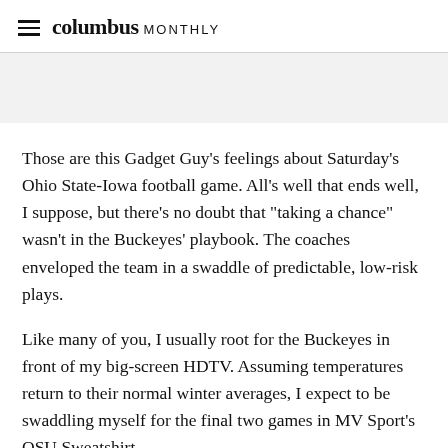columbus MONTHLY
Those are this Gadget Guy's feelings about Saturday's Ohio State-Iowa football game. All's well that ends well, I suppose, but there's no doubt that "taking a chance" wasn't in the Buckeyes' playbook. The coaches enveloped the team in a swaddle of predictable, low-risk plays.
Like many of you, I usually root for the Buckeyes in front of my big-screen HDTV. Assuming temperatures return to their normal winter averages, I expect to be swaddling myself for the final two games in MV Sport's OSU Sweatshirt